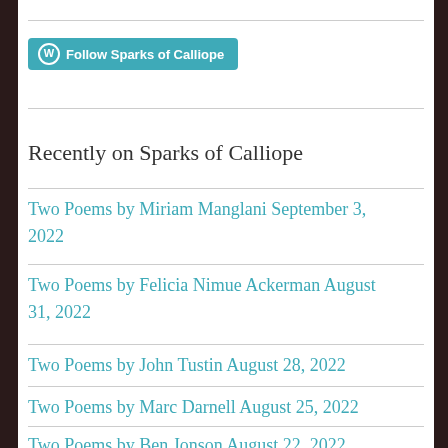[Figure (logo): Follow Sparks of Calliope button with WordPress icon]
Recently on Sparks of Calliope
Two Poems by Miriam Manglani September 3, 2022
Two Poems by Felicia Nimue Ackerman August 31, 2022
Two Poems by John Tustin August 28, 2022
Two Poems by Marc Darnell August 25, 2022
Two Poems by Ben Jonson August 22, 2022